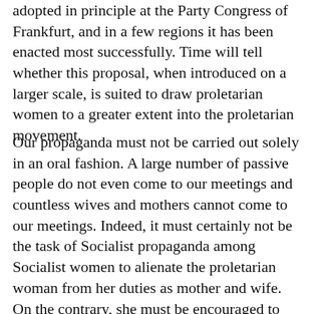adopted in principle at the Party Congress of Frankfurt, and in a few regions it has been enacted most successfully. Time will tell whether this proposal, when introduced on a larger scale, is suited to draw proletarian women to a greater extent into the proletarian movement.
Our propaganda must not be carried out solely in an oral fashion. A large number of passive people do not even come to our meetings and countless wives and mothers cannot come to our meetings. Indeed, it must certainly not be the task of Socialist propaganda among Socialist women to alienate the proletarian woman from her duties as mother and wife. On the contrary, she must be encouraged to carry out these tasks better than ever in the interests of the liberation of the proletariat. The better the conditions within her family, the better her effectiveness at home, the more she will be capable of fighting. The more she can serve as the educator and molder of her children, the better she will be able to